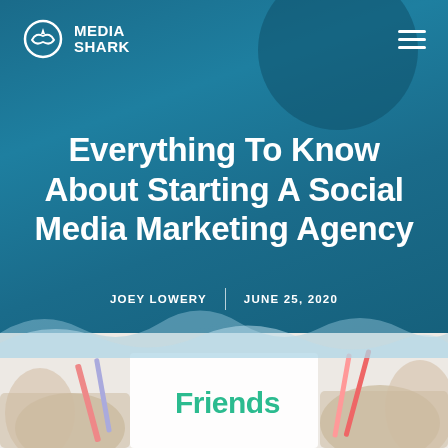MEDIA SHARK
Everything To Know About Starting A Social Media Marketing Agency
JOEY LOWERY | JUNE 25, 2020
[Figure (photo): Hands writing on paper with pencils, with the word Friends visible in green text, bottom portion of a blog article hero image]